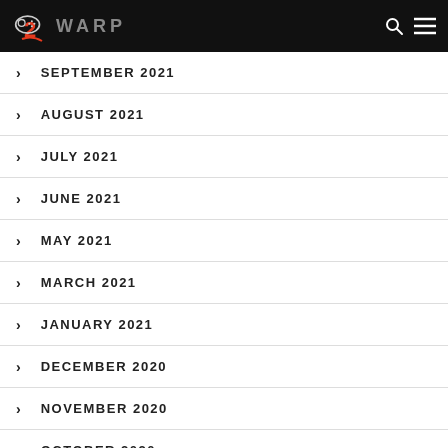WARP
SEPTEMBER 2021
AUGUST 2021
JULY 2021
JUNE 2021
MAY 2021
MARCH 2021
JANUARY 2021
DECEMBER 2020
NOVEMBER 2020
OCTOBER 2020
SEPTEMBER 2020
AUGUST 2020